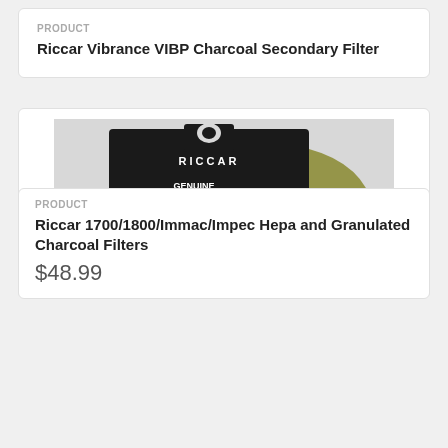PRODUCT
Riccar Vibrance VIBP Charcoal Secondary Filter
[Figure (photo): Product photo of Riccar Genuine HEPA and Granulated Charcoal Filter Set box, black packaging with gold vacuum cleaner visible, text reading GENUINE HEPA AND GRANULATED CHARCOAL FILTER SET, Immaculate, Impeccable, 1800, 1700]
PRODUCT
Riccar 1700/1800/Immac/Impec Hepa and Granulated Charcoal Filters
$48.99